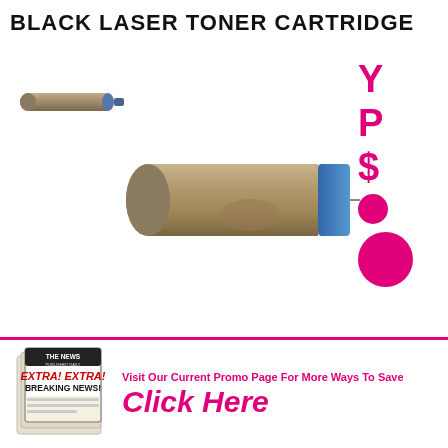BLACK LASER TONER CARTRIDGE
[Figure (photo): Small toner cartridge image (thumbnail), tan/brown cylindrical cartridge]
[Figure (photo): Large toner cartridge image, tan/brown cylindrical cartridge with blue end cap]
[Figure (other): Right panel with partial pink/magenta letters Y, P, dollar sign, and two magenta circles]
[Figure (illustration): Newspaper graphic with EXTRA EXTRA BREAKING NEWS text]
Visit Our Current Promo Page For More Ways To Save
Click Here